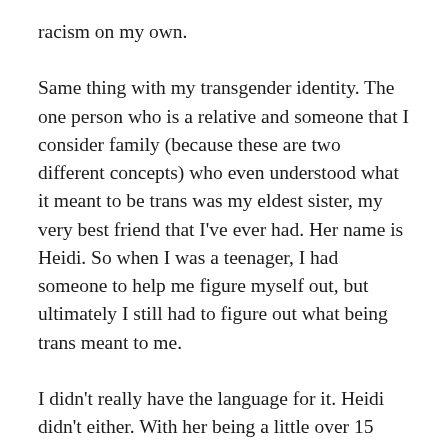racism on my own.
Same thing with my transgender identity. The one person who is a relative and someone that I consider family (because these are two different concepts) who even understood what it meant to be trans was my eldest sister, my very best friend that I've ever had. Her name is Heidi. So when I was a teenager, I had someone to help me figure myself out, but ultimately I still had to figure out what being trans meant to me.
I didn't really have the language for it. Heidi didn't either. With her being a little over 15 years older than me, being transgender wasn't